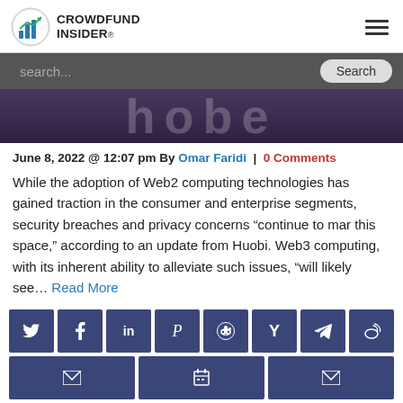CROWDFUND INSIDER
[Figure (screenshot): Partial image showing large stylized white text on dark purple/grey background]
June 8, 2022 @ 12:07 pm By Omar Faridi | 0 Comments
While the adoption of Web2 computing technologies has gained traction in the consumer and enterprise segments, security breaches and privacy concerns “continue to mar this space,” according to an update from Huobi. Web3 computing, with its inherent ability to alleviate such issues, “will likely see… Read More
[Figure (infographic): Social sharing buttons: Twitter, Facebook, LinkedIn, Pinterest, Reddit, Hacker News, Telegram, Weibo in first row; Email, Print, Email in second row]